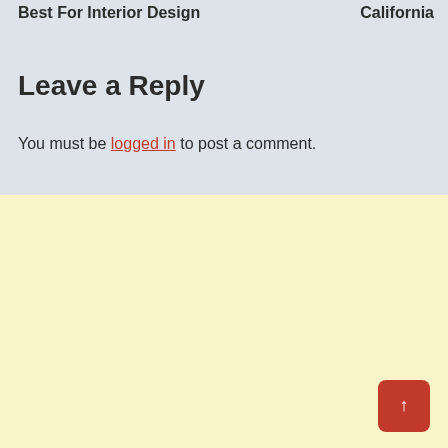Best For Interior Design	California
Leave a Reply
You must be logged in to post a comment.